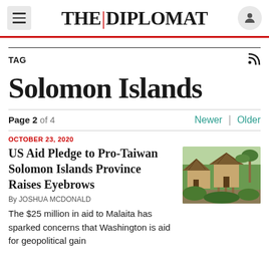THE | DIPLOMAT
TAG
Solomon Islands
Page 2 of 4   Newer | Older
OCTOBER 23, 2020
US Aid Pledge to Pro-Taiwan Solomon Islands Province Raises Eyebrows
By JOSHUA MCDONALD
The $25 million in aid to Malaita has sparked concerns that Washington is aid for geopolitical gain
[Figure (photo): Photo of traditional thatched-roof houses surrounded by tropical vegetation]